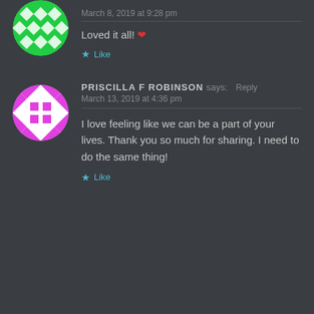[Figure (illustration): Green geometric pattern avatar (partially visible, cropped at top)]
March 8, 2019 at 9:28 pm
Loved it all! ❤
★ Like
[Figure (illustration): Pink and white geometric pattern avatar circle]
PRISCILLA F ROBINSON says: Reply
March 13, 2019 at 4:36 pm
I love feeling like we can be a part of your lives. Thank you so much for sharing. I need to do the same thing!
★ Like